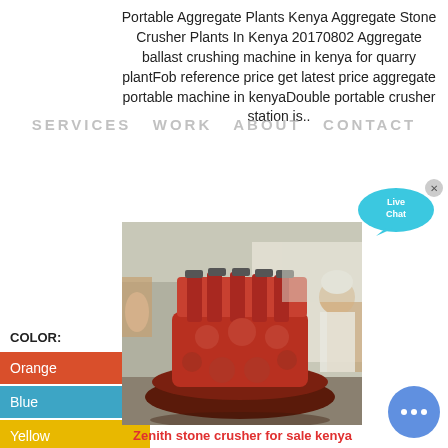Portable Aggregate Plants Kenya Aggregate Stone Crusher Plants In Kenya 20170802 Aggregate ballast crushing machine in kenya for quarry plantFob reference price get latest price aggregate portable machine in kenyaDouble portable crusher station is..
SERVICES  WORK  ABOUT  CONTACT
COLOR:
Orange
Blue
Yellow
[Figure (photo): Workers assembling or operating a large red industrial stone crusher machine outdoors]
Zenith stone crusher for sale kenya
[Figure (other): Live Chat speech bubble icon in cyan/teal color with white 'Live Chat' text and an X close button]
[Figure (other): Blue circular chat button with three dots]